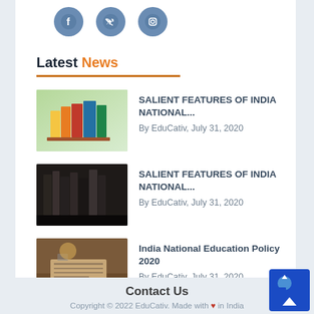[Figure (illustration): Social media icon buttons (Facebook, Twitter, Instagram) in blue circular style]
Latest News
SALIENT FEATURES OF INDIA NATIONAL... By EduCativ, July 31, 2020
SALIENT FEATURES OF INDIA NATIONAL... By EduCativ, July 31, 2020
India National Education Policy 2020 By EduCativ, July 31, 2020
Contact Us
Copyright © 2022 EduCativ. Made with ❤ in India